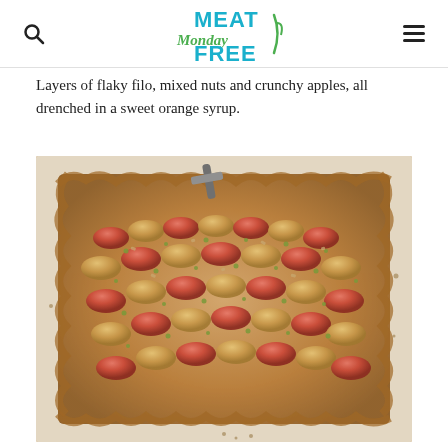Meat Free Monday
Layers of flaky filo, mixed nuts and crunchy apples, all drenched in a sweet orange syrup.
[Figure (photo): Overhead view of a rectangular filo pastry tart topped with sliced apples and crushed pistachios/nuts, baked golden on parchment paper.]